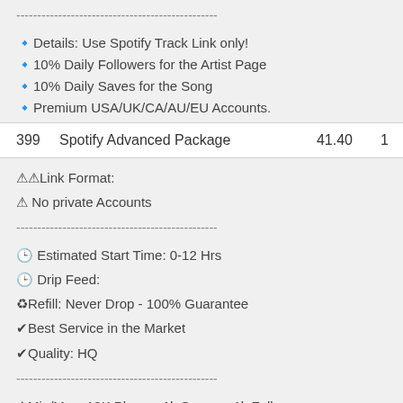------------------------------------------------
🔹Details: Use Spotify Track Link only!
🔹10% Daily Followers for the Artist Page
🔹10% Daily Saves for the Song
🔹Premium USA/UK/CA/AU/EU Accounts.
| ID | Name | Price | Qty |
| --- | --- | --- | --- |
| 399 | Spotify Advanced Package | 41.40 | 1 |
⚠⚠Link Format:
⚠ No private Accounts
------------------------------------------------
🕐 Estimated Start Time: 0-12 Hrs
🕐 Drip Feed:
♻Refill: Never Drop - 100% Guarantee
✔Best Service in the Market
✔Quality: HQ
------------------------------------------------
⚠Min/Max: 10K Plays + 1k Saves + 1k Follow
⚠ℹ 500-1000/Day speed!
------------------------------------------------
🔹Details: Use Spotify Track Link only!
🔹10% Daily Followers for the Artist Page